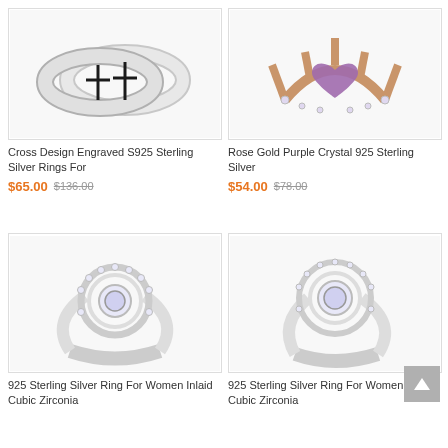[Figure (photo): Two silver rings with cross design engraving - Cross Design Engraved S925 Sterling Silver Rings]
Cross Design Engraved S925 Sterling Silver Rings For
$65.00  $136.00
[Figure (photo): Rose gold crown ring with purple crystal stone - Rose Gold Purple Crystal 925 Sterling Silver]
Rose Gold Purple Crystal 925 Sterling Silver
$54.00  $78.00
[Figure (photo): 925 Sterling Silver ring with double halo cubic zirconia setting for women]
925 Sterling Silver Ring For Women Inlaid Cubic Zirconia
[Figure (photo): 925 Sterling Silver ring with circular halo cubic zirconia setting for women]
925 Sterling Silver Ring For Women Inlaid Cubic Zirconia